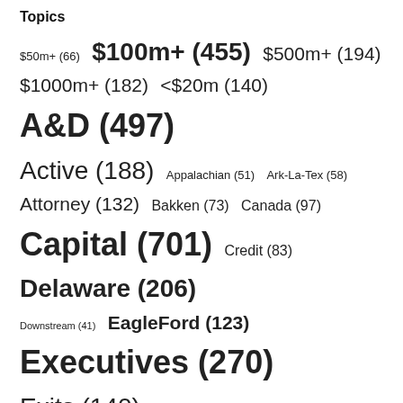Topics
$50m+ (66)  $100m+ (455)  $500m+ (194)  $1000m+ (182)  <$20m (140)  A&D (497)  Active (188)  Appalachian (51)  Ark-La-Tex (58)  Attorney (132)  Bakken (73)  Canada (97)  Capital (701)  Credit (83)  Delaware (206)  Downstream (41)  EagleFord (123)  Executives (270)  Exits (140)  GulfCoast (69)  Gulf of Mexico (59)  Haynesville (61)  I-Bank (179)  IPO (95)  JointVenture (48)  LNG (51)  M&A (232)  Marcellus (84)  Mid-Continent (211)  Midland (70)  Midstream (706)  Minerals (65)  New Fund (262)